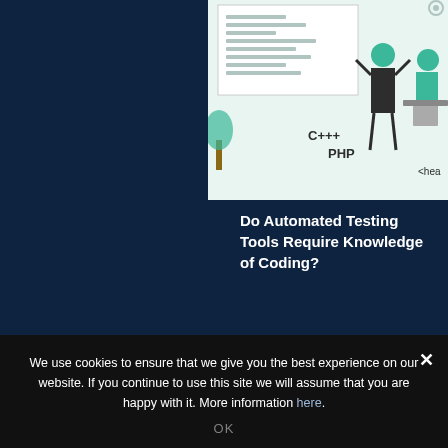[Figure (illustration): Illustration of people coding with C++, PHP and other programming languages shown on a board, two developers working at a computer]
Do Automated Testing Tools Require Knowledge of Coding?
[Figure (illustration): Isometric illustration of a laptop with a shield/lock icon on a purple background, suggesting cybersecurity theme]
We use cookies to ensure that we give you the best experience on our website. If you continue to use this site we will assume that you are happy with it. More information here.
OK